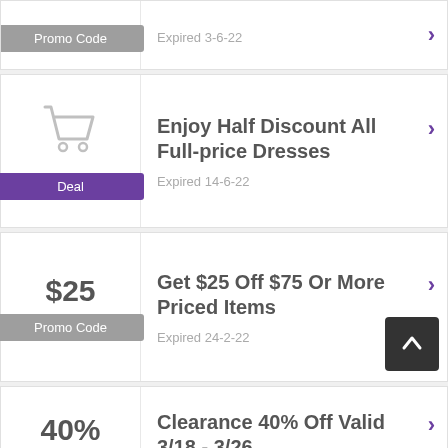Promo Code
Expired 3-6-22
[Figure (illustration): Shopping cart icon]
Deal
Enjoy Half Discount All Full-price Dresses
Expired 14-6-22
$25
Promo Code
Get $25 Off $75 Or More Priced Items
Expired 24-2-22
40%
Deal
Clearance 40% Off Valid 3/18 - 3/26
Expired 20-7-22